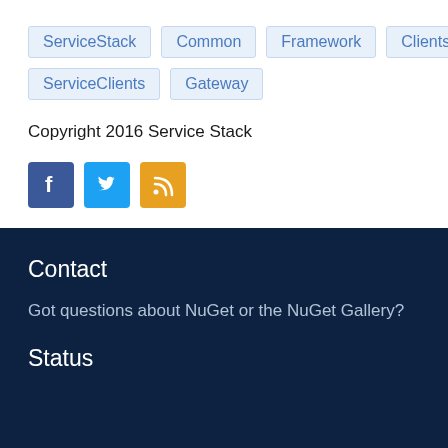ServiceStack
Common
Framework
Clients
ServiceClients
Gateway
Copyright 2016 Service Stack
[Figure (other): Social media icons: Facebook (blue), Twitter (light blue), RSS (orange)]
Contact
Got questions about NuGet or the NuGet Gallery?
Status